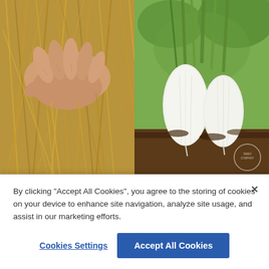[Figure (photo): A hand touching/holding golden wheat or barley stalks in a field, viewed from above.]
[Figure (photo): Two white daikon radishes pulled from dark soil with green leafy stems visible.]
Barley Seed
Daikon Radish Seed
Barley is a…
…od plots.
By clicking “Accept All Cookies”, you agree to the storing of cookies on your device to enhance site navigation, analyze site usage, and assist in our marketing efforts.
Cookies Settings
Accept All Cookies